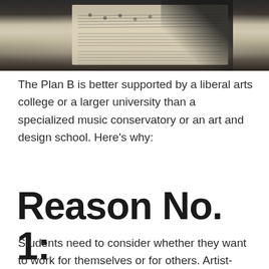[Figure (photo): A musician reading sheet music, holding a string instrument (likely cello or violin), photographed from behind. Dark background with the music score illuminated.]
The Plan B is better supported by a liberal arts college or a larger university than a specialized music conservatory or an art and design school. Here's why:
Reason No. 1:
Students need to consider whether they want to work for themselves or for others. Artist-entropreneurs as well as creative workers